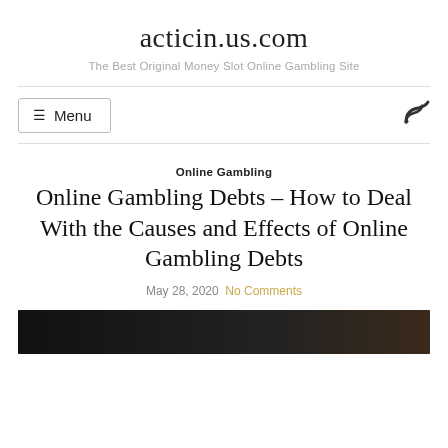acticin.us.com
The Best Original Money Slot Online Gambling Site
☰ Menu
Online Gambling
Online Gambling Debts – How to Deal With the Causes and Effects of Online Gambling Debts
May 28, 2020   No Comments
[Figure (photo): Dark image at the bottom of the page, partially visible]